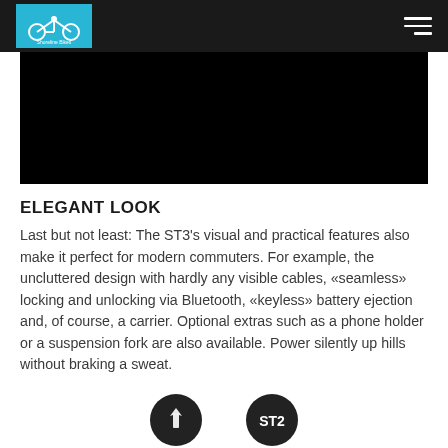Shoreline Bikes logo and navigation
[Figure (photo): Dark/black hero image panel]
ELEGANT LOOK
Last but not least: The ST3’s visual and practical features also make it perfect for modern commuters. For example, the uncluttered design with hardly any visible cables, «seamless» locking and unlocking via Bluetooth, «keyless» battery ejection and, of course, a carrier. Optional extras such as a phone holder or a suspension fork are also available. Power silently up hills without braking a sweat.
[Figure (illustration): Two circular dark icons at the bottom of the page]